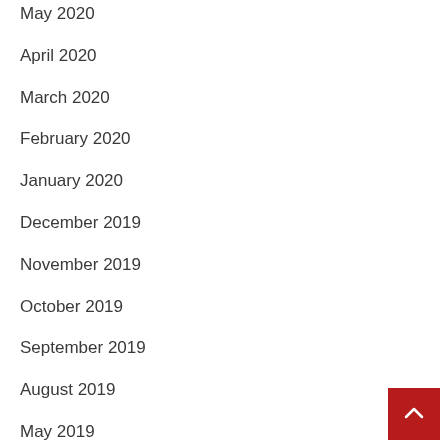May 2020
April 2020
March 2020
February 2020
January 2020
December 2019
November 2019
October 2019
September 2019
August 2019
May 2019
April 2019
March 2019